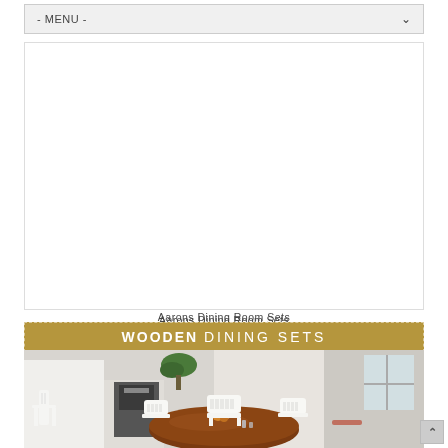- MENU -
[Figure (other): White empty content box area for an advertisement or image placeholder]
Aarons Dining Room Sets
[Figure (photo): Wooden Dining Sets promotional image showing a round wooden dining table with white chairs in a bright room setting, with a gold banner reading WOODEN DINING SETS at the top]